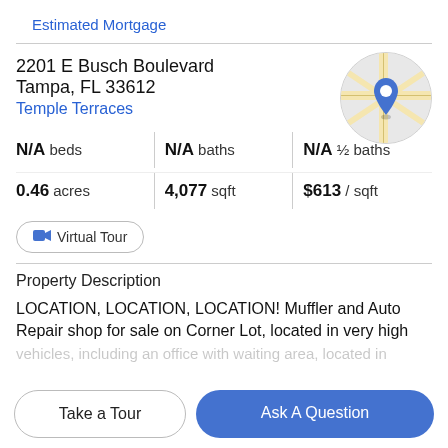Estimated Mortgage
2201 E Busch Boulevard
Tampa, FL 33612
Temple Terraces
[Figure (map): Circular map thumbnail showing street map with blue location pin marker]
N/A beds | N/A baths | N/A ½ baths
0.46 acres | 4,077 sqft | $613 / sqft
Virtual Tour
Property Description
LOCATION, LOCATION, LOCATION! Muffler and Auto Repair shop for sale on Corner Lot, located in very high
Take a Tour
Ask A Question